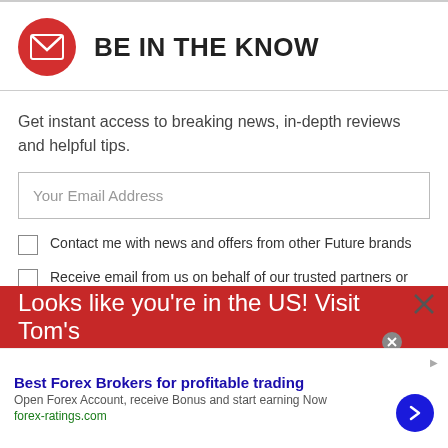BE IN THE KNOW
Get instant access to breaking news, in-depth reviews and helpful tips.
Your Email Address
Contact me with news and offers from other Future brands
Receive email from us on behalf of our trusted partners or sponsors
SIGN ME UP
Looks like you're in the US! Visit Tom's
Best Forex Brokers for profitable trading
Open Forex Account, receive Bonus and start earning Now
forex-ratings.com